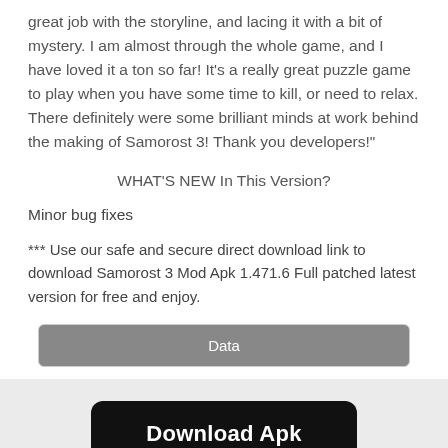great job with the storyline, and lacing it with a bit of mystery. I am almost through the whole game, and I have loved it a ton so far! It’s a really great puzzle game to play when you have some time to kill, or need to relax. There definitely were some brilliant minds at work behind the making of Samorost 3! Thank you developers!"
WHAT'S NEW In This Version?
Minor bug fixes
*** Use our safe and secure direct download link to download Samorost 3 Mod Apk 1.471.6 Full patched latest version for free and enjoy.
Data
Download Apk
Related Posts of Samorost 3